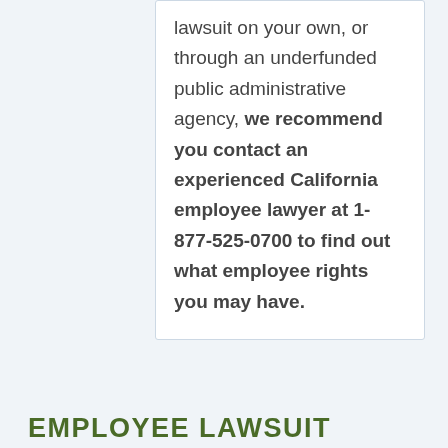lawsuit on your own, or through an underfunded public administrative agency, we recommend you contact an experienced California employee lawyer at 1-877-525-0700 to find out what employee rights you may have.
EMPLOYEE LAWSUIT